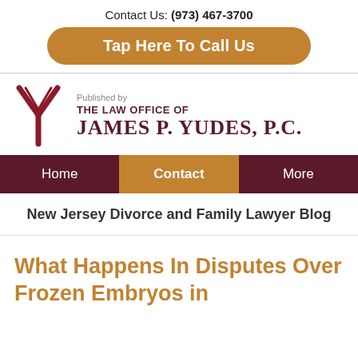Contact Us: (973) 467-3700
Tap Here To Call Us
[Figure (logo): Law Office of James P. Yudes, P.C. logo with a stylized Y emblem in dark red and the firm name]
Home | Contact | More
New Jersey Divorce and Family Lawyer Blog
What Happens In Disputes Over Frozen Embryos in